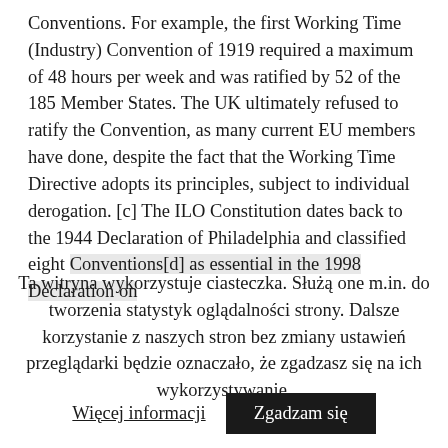Conventions. For example, the first Working Time (Industry) Convention of 1919 required a maximum of 48 hours per week and was ratified by 52 of the 185 Member States. The UK ultimately refused to ratify the Convention, as many current EU members have done, despite the fact that the Working Time Directive adopts its principles, subject to individual derogation. [c] The ILO Constitution dates back to the 1944 Declaration of Philadelphia and classified eight Conventions[d] as essential in the 1998 Declaration on
Ta witryna wykorzystuje ciasteczka. Służą one m.in. do tworzenia statystyk oglądalności strony. Dalsze korzystanie z naszych stron bez zmiany ustawień przeglądarki będzie oznaczało, że zgadzasz się na ich wykorzystywanie.
Więcej informacji
Zgadzam się